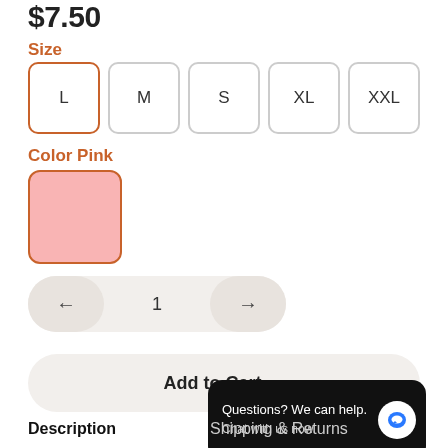$7.50
Size
L  M  S  XL  XXL
Color Pink
Pink color swatch selected
← 1 →
Add to Cart →
Questions? We can help. Chat with us now.
Description